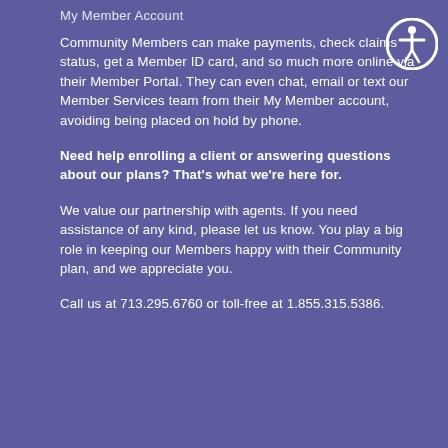My Member Account
Community Members can make payments, check claims status, get a Member ID card, and so much more online via their Member Portal. They can even chat, email or text our Member Services team from their My Member account, avoiding being placed on hold by phone.
Need help enrolling a client or answering questions about our plans? That's what we're here for.
We value our partnership with agents. If you need assistance of any kind, please let us know. You play a big role in keeping our Members happy with their Community plan, and we appreciate you.
Call us at 713.295.6760 or toll-free at 1.855.315.5386.